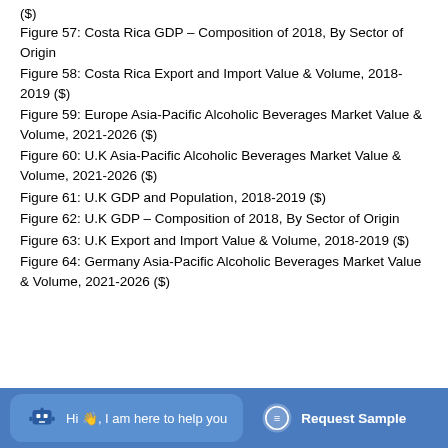($)
Figure 57: Costa Rica GDP – Composition of 2018, By Sector of Origin
Figure 58: Costa Rica Export and Import Value & Volume, 2018-2019 ($)
Figure 59: Europe Asia-Pacific Alcoholic Beverages Market Value & Volume, 2021-2026 ($)
Figure 60: U.K Asia-Pacific Alcoholic Beverages Market Value & Volume, 2021-2026 ($)
Figure 61: U.K GDP and Population, 2018-2019 ($)
Figure 62: U.K GDP – Composition of 2018, By Sector of Origin
Figure 63: U.K Export and Import Value & Volume, 2018-2019 ($)
Figure 64: Germany Asia-Pacific Alcoholic Beverages Market Value & Volume, 2021-2026 ($)